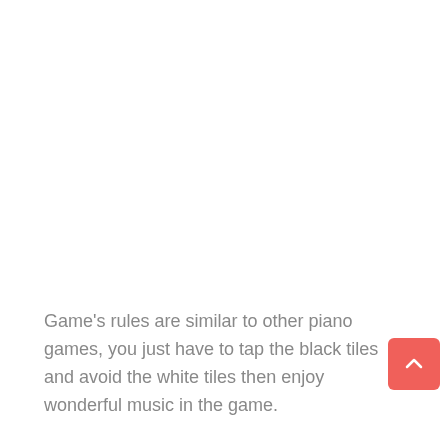Game's rules are similar to other piano games, you just have to tap the black tiles and avoid the white tiles then enjoy wonderful music in the game.